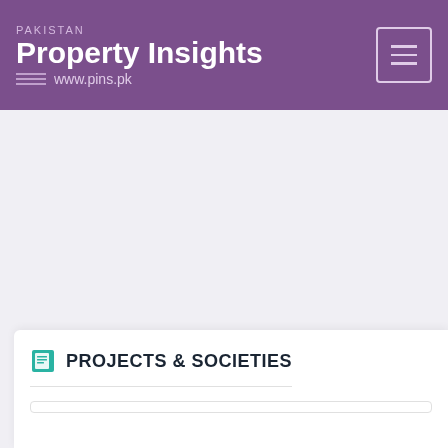PAKISTAN Property Insights www.pins.pk
PROJECTS & SOCIETIES